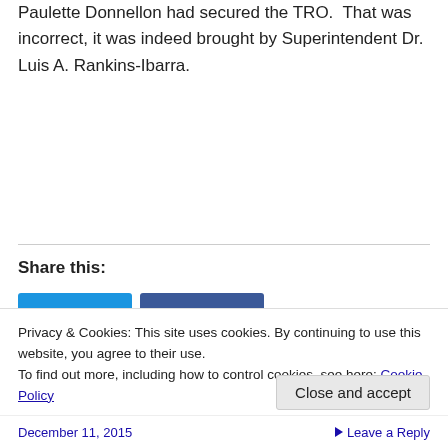Paulette Donnellon had secured the TRO.  That was incorrect, it was indeed brought by Superintendent Dr. Luis A. Rankins-Ibarra.
Share this:
Privacy & Cookies: This site uses cookies. By continuing to use this website, you agree to their use.
To find out more, including how to control cookies, see here: Cookie Policy
Close and accept
December 11, 2015   Leave a Reply